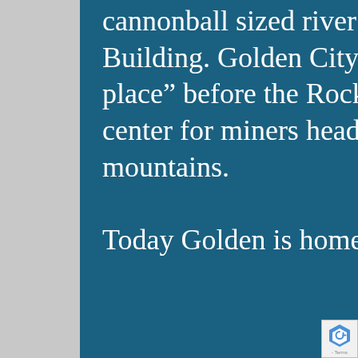cannonball sized river rocks used in the Armory Building. Golden City became known as the last “flat place” before the Rockies, and it soon became a supply center for miners headed to find gold in the western mountains.

Today Golden is home to more people and